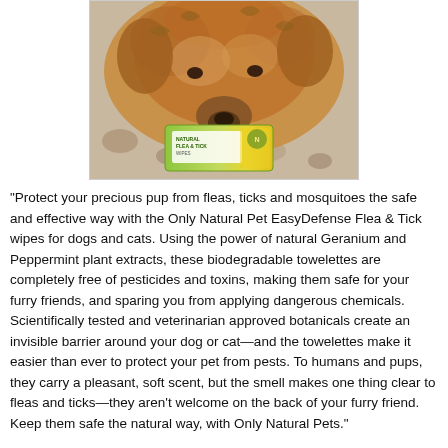[Figure (photo): A golden/reddish curly-haired dog (Airedale Terrier or similar) sniffing a green and yellow package of Only Natural Pet EasyDefense Flea & Tick wipes, placed on a patterned surface.]
"Protect your precious pup from fleas, ticks and mosquitoes the safe and effective way with the Only Natural Pet EasyDefense Flea & Tick wipes for dogs and cats. Using the power of natural Geranium and Peppermint plant extracts, these biodegradable towelettes are completely free of pesticides and toxins, making them safe for your furry friends, and sparing you from applying dangerous chemicals. Scientifically tested and veterinarian approved botanicals create an invisible barrier around your dog or cat—and the towelettes make it easier than ever to protect your pet from pests. To humans and pups, they carry a pleasant, soft scent, but the smell makes one thing clear to fleas and ticks—they aren't welcome on the back of your furry friend. Keep them safe the natural way, with Only Natural Pets."